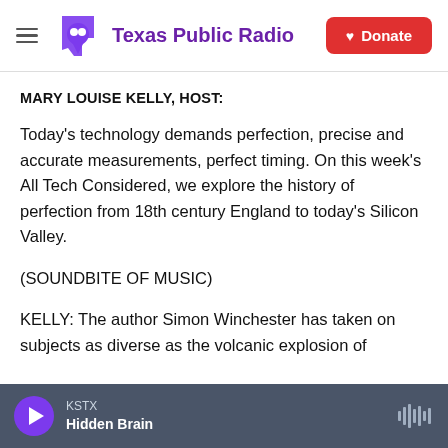Texas Public Radio | Donate
MARY LOUISE KELLY, HOST:
Today's technology demands perfection, precise and accurate measurements, perfect timing. On this week's All Tech Considered, we explore the history of perfection from 18th century England to today's Silicon Valley.
(SOUNDBITE OF MUSIC)
KELLY: The author Simon Winchester has taken on subjects as diverse as the volcanic explosion of
KSTX
Hidden Brain